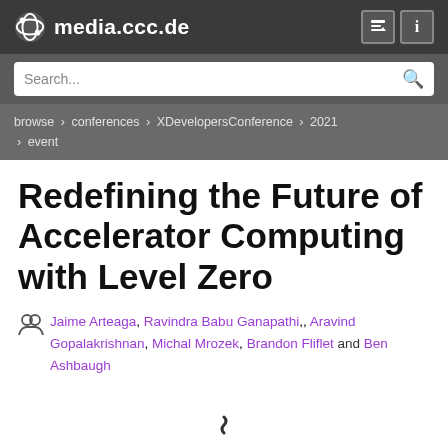media.ccc.de
Search...
browse > conferences > XDevelopersConference > 2021 > event
Redefining the Future of Accelerator Computing with Level Zero
Jaime Arteaga, Ravindra Babu Ganapathi,, Aravind Gopalakrishnan, Michal Mrozek, Brandon Fliflet and Ben Ashbaugh